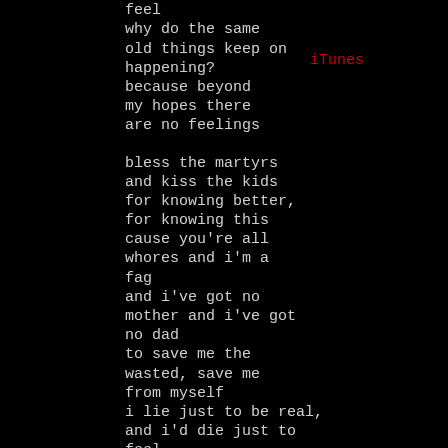and i'd die just to feel why do the same old things keep on happening? because beyond my hopes there are no feelings

bless the martyrs and kiss the kids for knowing better, for knowing this cause you're all whores and i'm a fag and i've got no mother and i've got no dad to save me the wasted, save me from myself i lie just to be real, and i'd die just to feel why do the same old things keep on happening? because beyond my hopes there are no feelings
iTunes